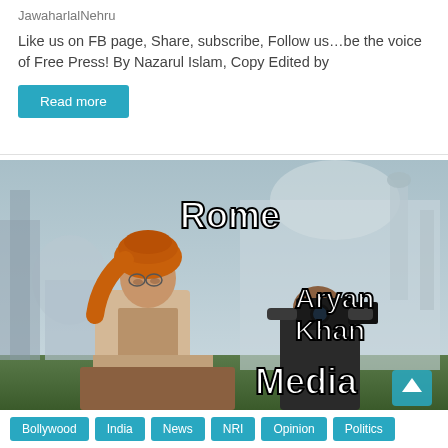JawaharlalNehru
Like us on FB page, Share, subscribe, Follow us...be the voice of Free Press! By Nazarul Islam, Copy Edited by
Read more
[Figure (photo): Meme image showing a political figure in orange turban looking at a cameraperson filming, with text overlays: 'Rome' (top left), 'Aryan Khan' (right), 'Media' (bottom center). Background shows a mosque/monument.]
Bollywood
India
News
NRI
Opinion
Politics